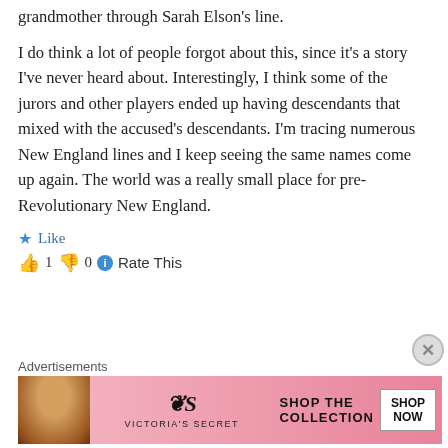grandmother through Sarah Elson's line.
I do think a lot of people forgot about this, since it's a story I've never heard about. Interestingly, I think some of the jurors and other players ended up having descendants that mixed with the accused's descendants. I'm tracing numerous New England lines and I keep seeing the same names come up again. The world was a really small place for pre-Revolutionary New England.
★ Like
👍 1  👎 0  ℹ Rate This
[Figure (photo): Victoria's Secret advertisement banner with a model, VS logo, 'SHOP THE COLLECTION' text, and 'SHOP NOW' button]